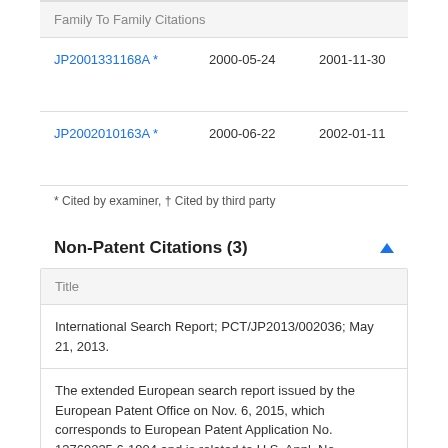| Family To Family Citations |
| --- |
| JP2001331168A * | 2000-05-24 | 2001-11-30 | Ma Ele Co |
| JP2002010163A * | 2000-06-22 | 2002-01-11 | Mit Ele Cor |
* Cited by examiner, † Cited by third party
Non-Patent Citations (3)
| Title |
| --- |
| International Search Report; PCT/JP2013/002036; May 21, 2013. |
| The extended European search report issued by the European Patent Office on Nov. 6, 2015, which corresponds to European Patent Application No. 13769235.6-1904 and is related to U.S. Appl. No. 14/388,511. |